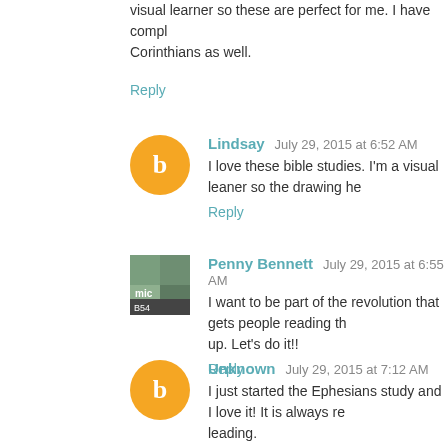visual learner so these are perfect for me. I have compl Corinthians as well.
Reply
Lindsay  July 29, 2015 at 6:52 AM
I love these bible studies. I'm a visual leaner so the drawing he
Reply
Penny Bennett  July 29, 2015 at 6:55 AM
I want to be part of the revolution that gets people reading the up. Let's do it!!
Reply
Unknown  July 29, 2015 at 7:12 AM
I just started the Ephesians study and I love it! It is always re leading.
Reply